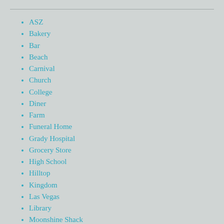ASZ
Bakery
Bar
Beach
Carnival
Church
College
Diner
Farm
Funeral Home
Grady Hospital
Grocery Store
High School
Hilltop
Kingdom
Las Vegas
Library
Moonshine Shack
Prison
Record Store
Terminus
Woodbury